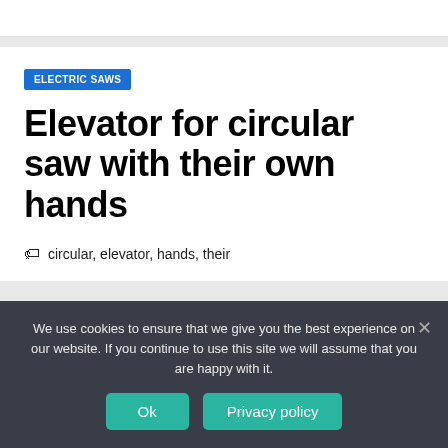ELECTRIC SAWS
Elevator for circular saw with their own hands
circular, elevator, hands, their
We use cookies to ensure that we give you the best experience on our website. If you continue to use this site we will assume that you are happy with it.
Ok | Privacy policy